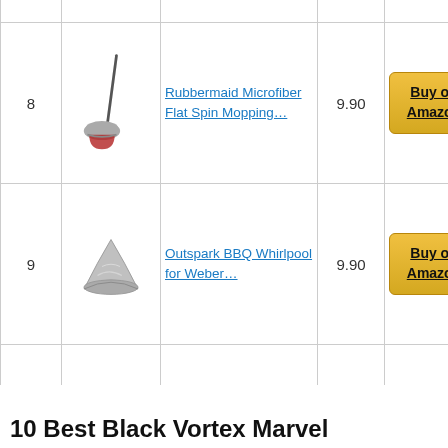| # | Image | Name | Score | Action |
| --- | --- | --- | --- | --- |
| 8 | [mop image] | Rubbermaid Microfiber Flat Spin Mopping… | 9.90 | Buy on Amazon |
| 9 | [bbq image] | Outspark BBQ Whirlpool for Weber… | 9.90 | Buy on Amazon |
| 10 | [skull image] | Skull & Co. Skin, CQC… | 9.65 | Buy on Amazon |
10 Best Black Vortex Marvel